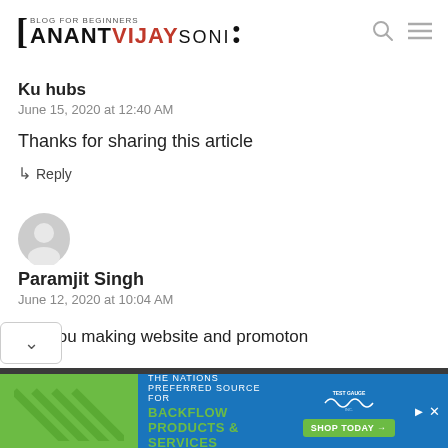BLOG FOR BEGINNERS | ANANT VIJAY SONI
Ku hubs
June 15, 2020 at 12:40 AM
Thanks for sharing this article
↳ Reply
[Figure (illustration): Generic user avatar icon (circular grey silhouette)]
Paramjit Singh
June 12, 2020 at 10:04 AM
Are you making website and promoton
[Figure (infographic): Advertisement banner: THE NATIONS PREFERRED SOURCE FOR BACKFLOW PRODUCTS & SERVICES with Test Gauge Inc. logo and SHOP TODAY button]